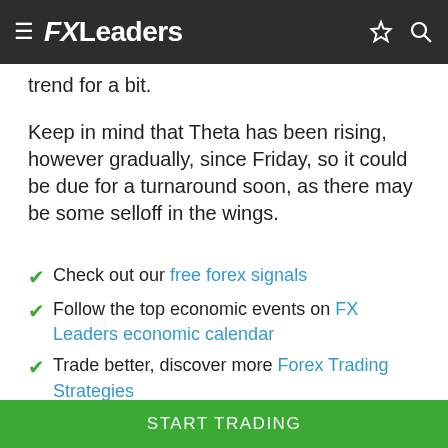FXLeaders
trend for a bit.
Keep in mind that Theta has been rising, however gradually, since Friday, so it could be due for a turnaround soon, as there may be some selloff in the wings.
Check out our free forex signals
Follow the top economic events on FX Leaders economic calendar
Trade better, discover more Forex Trading Strategies
START TRADING